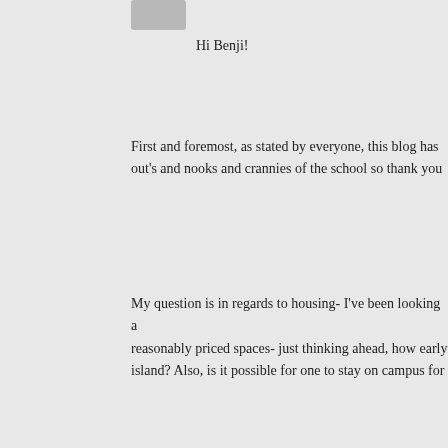[Figure (photo): Small avatar/profile image placeholder at top, gray rectangle]
Hi Benji!
First and foremost, as stated by everyone, this blog has out's and nooks and crannies of the school so thank you
My question is in regards to housing- I've been looking a reasonably priced spaces- just thinking ahead, how early island? Also, is it possible for one to stay on campus for
One more question I just realized I have: Are there other
Thanks Again!
-Garnette
[Figure (photo): Profile photo of Benji - person smiling with child]
Benji
June 14, 2013 at 4:29 pm · Reply
Hi Garnette,
Thanks for visiting my site! There are definitely a lo